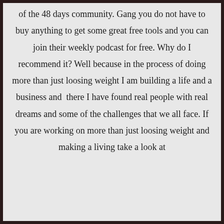of the 48 days community. Gang you do not have to buy anything to get some great free tools and you can join their weekly podcast for free. Why do I recommend it? Well because in the process of doing more than just loosing weight I am building a life and a business and  there I have found real people with real dreams and some of the challenges that we all face. If you are working on more than just loosing weight and making a living take a look at